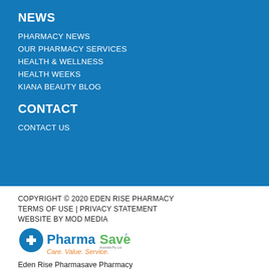NEWS
PHARMACY NEWS
OUR PHARMACY SERVICES
HEALTH & WELLNESS
HEALTH WEEKS
KIANA BEAUTY BLOG
CONTACT
CONTACT US
COPYRIGHT © 2020 EDEN RISE PHARMACY
TERMS OF USE | PRIVACY STATEMENT
WEBSITE BY MOD MEDIA
[Figure (logo): PharmaSave logo with tagline 'Care. Value. Service.' Australian Pty Ltd]
Eden Rise Pharmasave Pharmacy
Shop 30, Eden Rise Shopping Centre